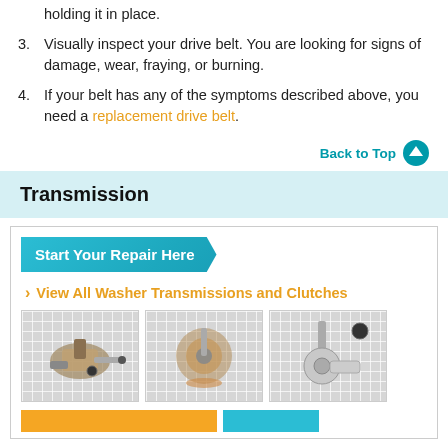holding it in place.
3. Visually inspect your drive belt. You are looking for signs of damage, wear, fraying, or burning.
4. If your belt has any of the symptoms described above, you need a replacement drive belt.
Back to Top
Transmission
Start Your Repair Here
› View All Washer Transmissions and Clutches
[Figure (photo): Three washer transmission/clutch part photos on grid background]
Buttons at bottom of repair box